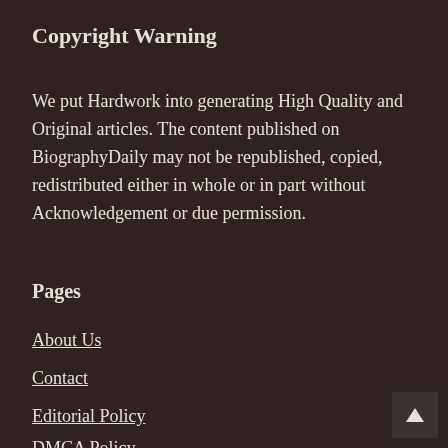Copyright Warning
We put Hardwork into generating High Quality and Original articles. The content published on BiographyDaily may not be republished, copied, redistributed either in whole or in part without Acknowledgement or due permission.
Pages
About Us
Contact
Editorial Policy
DMCA Policy